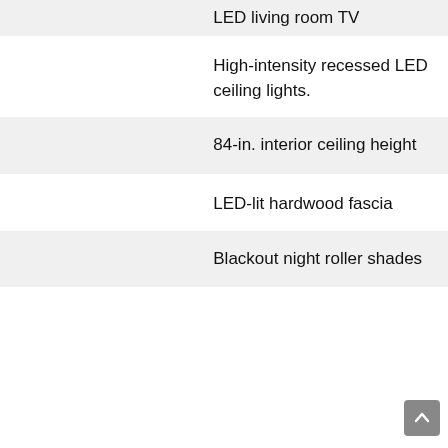LED living room TV
High-intensity recessed LED ceiling lights.
84-in. interior ceiling height
LED-lit hardwood fascia
Blackout night roller shades